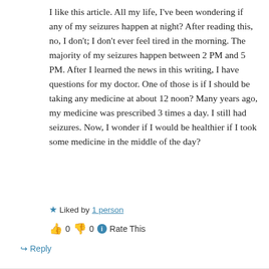I like this article. All my life, I've been wondering if any of my seizures happen at night? After reading this, no, I don't; I don't ever feel tired in the morning. The majority of my seizures happen between 2 PM and 5 PM. After I learned the news in this writing, I have questions for my doctor. One of those is if I should be taking any medicine at about 12 noon? Many years ago, my medicine was prescribed 3 times a day. I still had seizures. Now, I wonder if I would be healthier if I took some medicine in the middle of the day?
★ Liked by 1 person
👍 0 👎 0 ℹ Rate This
↪ Reply